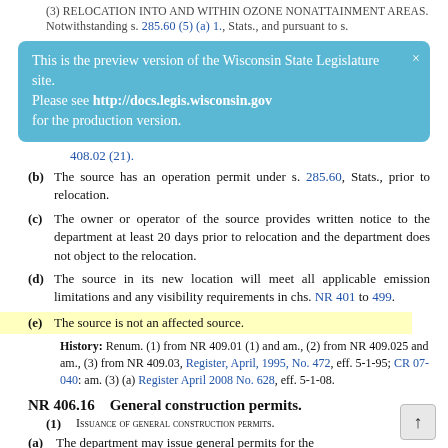(3) RELOCATION INTO AND WITHIN OZONE NONATTAINMENT AREAS. Notwithstanding s. 285.60 (5) (a) 1., Stats., and pursuant to s.
[Figure (screenshot): Blue tooltip overlay: 'This is the preview version of the Wisconsin State Legislature site. Please see http://docs.legis.wisconsin.gov for the production version.' with an X close button.]
408.02 (21).
(b) The source has an operation permit under s. 285.60, Stats., prior to relocation.
(c) The owner or operator of the source provides written notice to the department at least 20 days prior to relocation and the department does not object to the relocation.
(d) The source in its new location will meet all applicable emission limitations and any visibility requirements in chs. NR 401 to 499.
(e) The source is not an affected source.
History: Renum. (1) from NR 409.01 (1) and am., (2) from NR 409.025 and am., (3) from NR 409.03, Register, April, 1995, No. 472, eff. 5-1-95; CR 07-040: am. (3) (a) Register April 2008 No. 628, eff. 5-1-08.
NR 406.16    General construction permits.
(1) ISSUANCE OF GENERAL CONSTRUCTION PERMITS.
(a) The department may issue general permits for the